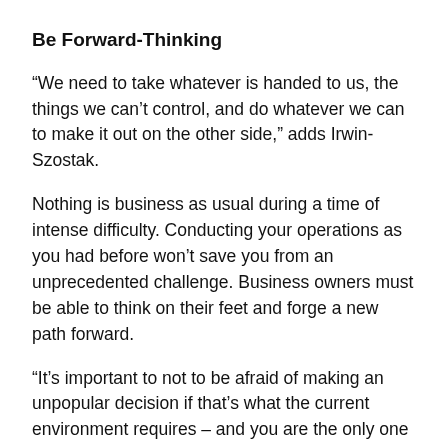Be Forward-Thinking
“We need to take whatever is handed to us, the things we can’t control, and do whatever we can to make it out on the other side,” adds Irwin-Szostak.
Nothing is business as usual during a time of intense difficulty. Conducting your operations as you had before won’t save you from an unprecedented challenge. Business owners must be able to think on their feet and forge a new path forward.
“It’s important to not to be afraid of making an unpopular decision if that’s what the current environment requires – and you are the only one that intimately knows your business and market positioning,” says Marie Berry, CEO & Co-Founder of Kara, a marketing production platform.
Take TravelPerk, for example. This travel startup should